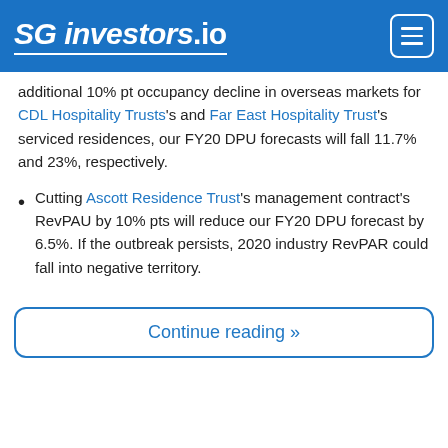SG investors.io
additional 10% pt occupancy decline in overseas markets for CDL Hospitality Trusts's and Far East Hospitality Trust's serviced residences, our FY20 DPU forecasts will fall 11.7% and 23%, respectively.
Cutting Ascott Residence Trust's management contract's RevPAU by 10% pts will reduce our FY20 DPU forecast by 6.5%. If the outbreak persists, 2020 industry RevPAR could fall into negative territory.
Continue reading »